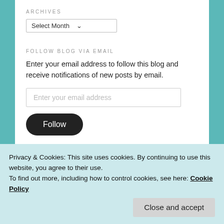ARCHIVES
Select Month ▾
FOLLOW BLOG VIA EMAIL
Enter your email address to follow this blog and receive notifications of new posts by email.
Enter your email address
Follow
Follow Sandy Kirby Quandt
Privacy & Cookies: This site uses cookies. By continuing to use this website, you agree to their use.
To find out more, including how to control cookies, see here: Cookie Policy
Close and accept
Quandt with appropriate and specific direction to the original